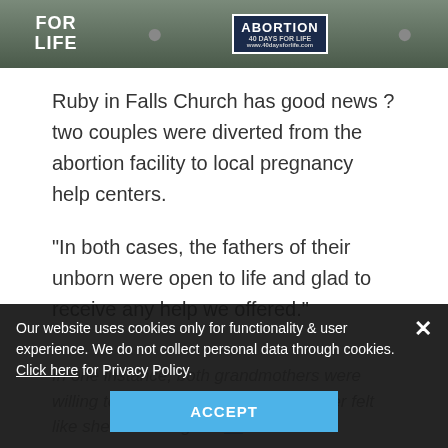[Figure (photo): Photo showing people holding protest signs including 'FOR LIFE' and an 'ABORTION 40 Days for Life' sign, outdoors on grass.]
Ruby in Falls Church has good news ? two couples were diverted from the abortion facility to local pregnancy help centers.
"In both cases, the fathers of their unborn were open to life and glad to receive any help we offered."
In one instance, both grandmothers were willing to raise the baby, but the mother felt like she was being forced...
Our website uses cookies only for functionality & user experience. We do not collect personal data through cookies. Click here for Privacy Policy.
ACCEPT